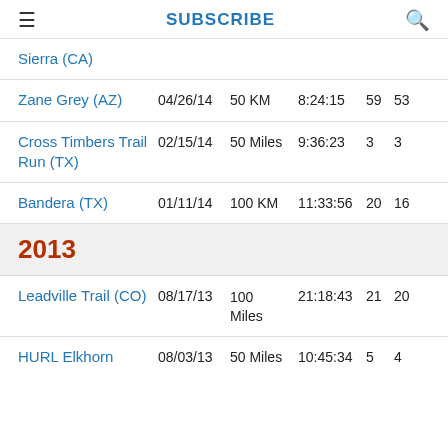≡  SUBSCRIBE  🔍
| Race | Date | Dist | Time | Overall | AG |
| --- | --- | --- | --- | --- | --- |
| Sierra (CA) |  |  |  |  |  |
| Zane Grey (AZ) | 04/26/14 | 50 KM | 8:24:15 | 59 | 53 |
| Cross Timbers Trail Run (TX) | 02/15/14 | 50 Miles | 9:36:23 | 3 | 3 |
| Bandera (TX) | 01/11/14 | 100 KM | 11:33:56 | 20 | 16 |
2013
| Race | Date | Dist | Time | Overall | AG |
| --- | --- | --- | --- | --- | --- |
| Leadville Trail (CO) | 08/17/13 | 100 Miles | 21:18:43 | 21 | 20 |
| HURL Elkhorn | 08/03/13 | 50 Miles | 10:45:34 | 5 | 4 |